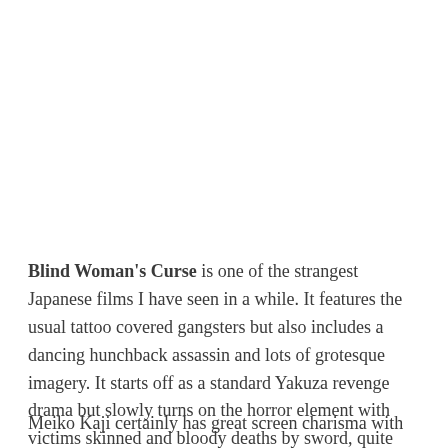Blind Woman's Curse is one of the strangest Japanese films I have seen in a while. It features the usual tattoo covered gangsters but also includes a dancing hunchback assassin and lots of grotesque imagery. It starts off as a standard Yakuza revenge drama but slowly turns on the horror element with victims skinned and bloody deaths by sword, quite explicit for 1970.
Meiko Kaji certainly has great screen charisma with